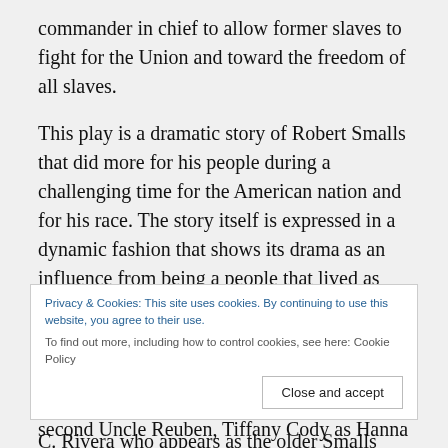commander in chief to allow former slaves to fight for the Union and toward the freedom of all slaves.
This play is a dramatic story of Robert Smalls that did more for his people during a challenging time for the American nation and for his race. The story itself is expressed in a dynamic fashion that shows its drama as an influence from being a people that lived as lowlifes into a group that proved that they could succeed and eventually did.
This production under the stage direction of Gerald C. Rivera who appears as the older Smalls holds a...
Privacy & Cookies: This site uses cookies. By continuing to use this website, you agree to their use. To find out more, including how to control cookies, see here: Cookie Policy
Close and accept
second Uncle Reuben, Tiffany Cody as Hanna